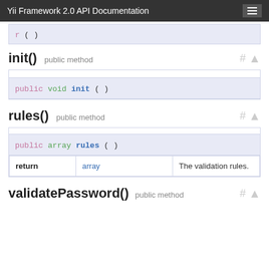Yii Framework 2.0 API Documentation
r ( )
init()  public method
public void init ( )
rules()  public method
public array rules ( )
| return |  |  |
| --- | --- | --- |
| return | array | The validation rules. |
validatePassword()  public method